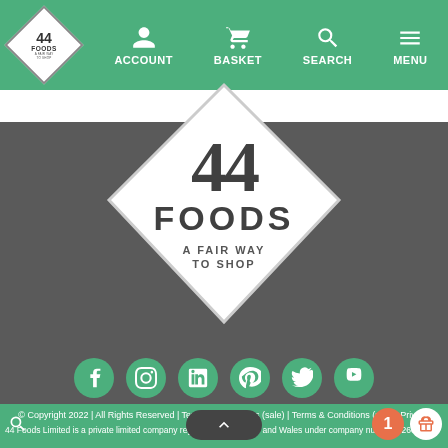[Figure (screenshot): 44 Foods website navigation bar with green background, logo, ACCOUNT, BASKET, SEARCH, MENU items]
[Figure (logo): 44 Foods logo: large diamond shape with '44 FOODS A FAIR WAY TO SHOP' text on gray background]
[Figure (infographic): Social media icons row: Facebook, Instagram, LinkedIn, Pinterest, Twitter, YouTube — all in green circles]
© Copyright 2022 | All Rights Reserved | Terms & Conditions (sale) | Terms & Conditions (use) | Privacy Policy
44 Foods Limited is a private limited company registered in England and Wales under company number 12605532